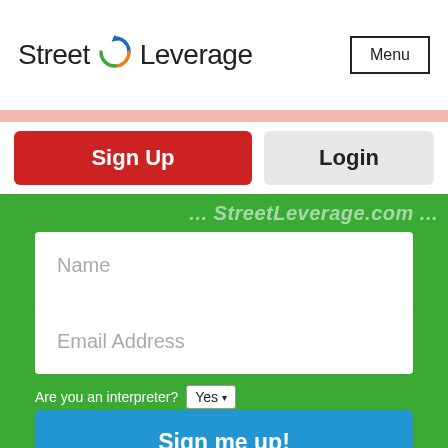[Figure (logo): Street Leverage logo with circular arrow icon in blue, green, and orange]
Menu
Sign Up
Login
Name
Email Address
Are you an interpreter? Yes
Sign me up!